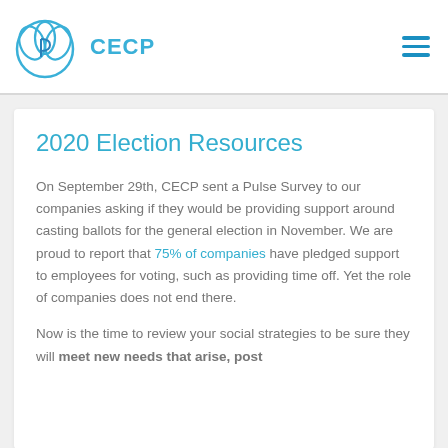CECP
2020 Election Resources
On September 29th, CECP sent a Pulse Survey to our companies asking if they would be providing support around casting ballots for the general election in November. We are proud to report that 75% of companies have pledged support to employees for voting, such as providing time off. Yet the role of companies does not end there.
Now is the time to review your social strategies to be sure they will meet new needs that arise, post